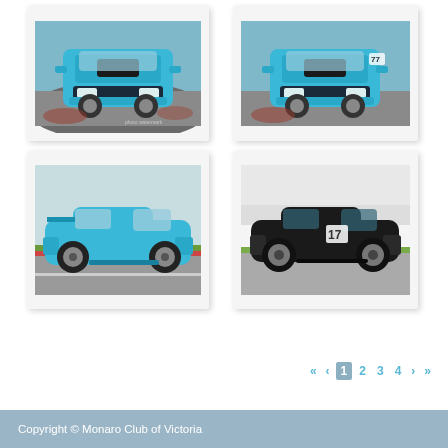[Figure (photo): Blue Monaro/HSV car photographed from front angle on a racing track, top-down perspective]
[Figure (photo): Blue Monaro/HSV car photographed from front angle on a racing track, slightly different angle]
[Figure (photo): Blue Monaro/HSV car photographed from side angle on a racing track with grass]
[Figure (photo): Black Monaro/HSV car number 17 photographed from side angle on a racing track]
« < 1 2 3 4 > »
Copyright © Monaro Club of Victoria